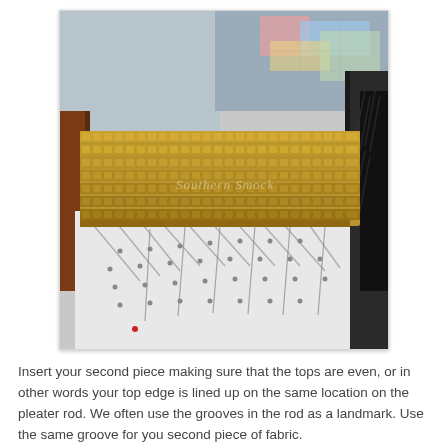[Figure (photo): A smocking pleater rod (gold/brass colored metal tool with multiple rows of grooves and teeth) resting on top of white fabric that has been hand-smocked with visible stitching dots, with colorful fabric and cutting mat visible in the background.]
Insert your second piece making sure that the tops are even, or in other words your top edge is lined up on the same location on the pleater rod. We often use the grooves in the rod as a landmark. Use the same groove for you second piece of fabric.